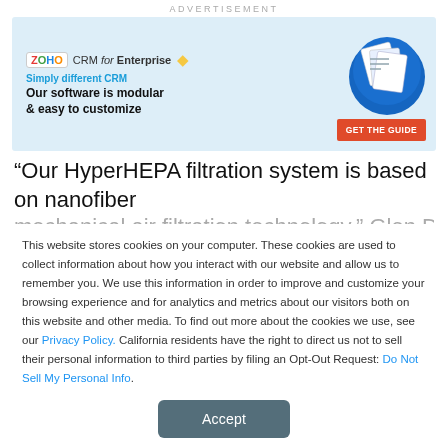ADVERTISEMENT
[Figure (infographic): Zoho CRM for Enterprise advertisement banner with blue circle graphic, document images, and GET THE GUIDE button]
“Our HyperHEPA filtration system is based on nanofiber mechanical air filtration technology,” Glen Dobbin, CEO of
This website stores cookies on your computer. These cookies are used to collect information about how you interact with our website and allow us to remember you. We use this information in order to improve and customize your browsing experience and for analytics and metrics about our visitors both on this website and other media. To find out more about the cookies we use, see our Privacy Policy. California residents have the right to direct us not to sell their personal information to third parties by filing an Opt-Out Request: Do Not Sell My Personal Info.